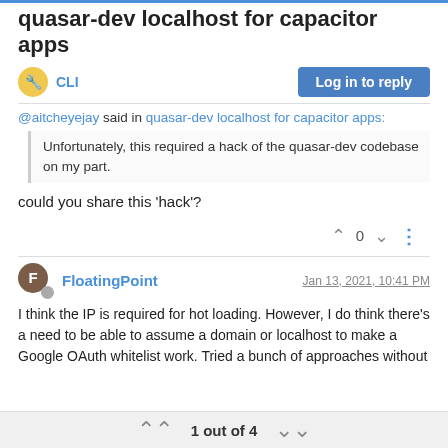quasar-dev localhost for capacitor apps
CLI
@aitcheyejay said in quasar-dev localhost for capacitor apps:
Unfortunately, this required a hack of the quasar-dev codebase on my part.
could you share this ‘hack’?
0
FloatingPoint  Jan 13, 2021, 10:41 PM
I think the IP is required for hot loading. However, I do think there’s a need to be able to assume a domain or localhost to make a Google OAuth whitelist work. Tried a bunch of approaches without
1 out of 4